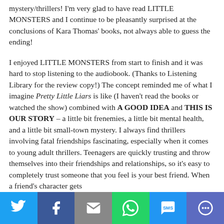mystery/thrillers! I'm very glad to have read LITTLE MONSTERS and I continue to be pleasantly surprised at the conclusions of Kara Thomas' books, not always able to guess the ending!
I enjoyed LITTLE MONSTERS from start to finish and it was hard to stop listening to the audiobook. (Thanks to Listening Library for the review copy!) The concept reminded me of what I imagine Pretty Little Liars is like (I haven't read the books or watched the show) combined with A GOOD IDEA and THIS IS OUR STORY – a little bit frenemies, a little bit mental health, and a little bit small-town mystery. I always find thrillers involving fatal friendships fascinating, especially when it comes to young adult thrillers. Teenagers are quickly trusting and throw themselves into their friendships and relationships, so it's easy to completely trust someone that you feel is your best friend. When a friend's character gets
[Figure (infographic): Social sharing bar with six buttons: Twitter (blue), Facebook (dark blue), Email (grey), WhatsApp (green), SMS (light blue), More (purple). Each button has a white icon.]